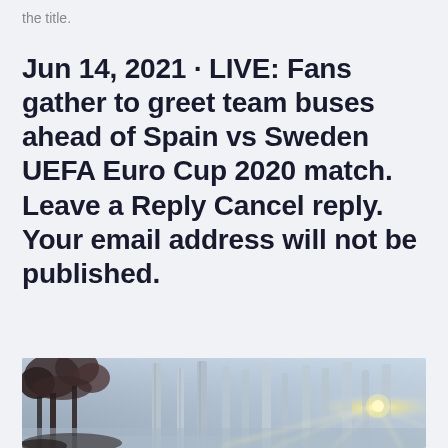the title.
Jun 14, 2021 · LIVE: Fans gather to greet team buses ahead of Spain vs Sweden UEFA Euro Cup 2020 match. Leave a Reply Cancel reply. Your email address will not be published.
[Figure (photo): A misty forest scene with tall trees and sunlight breaking through the fog from the right side. Dark foliage trees on the left, pale birch-like trunks on the right, with a bright starburst of sunlight.]